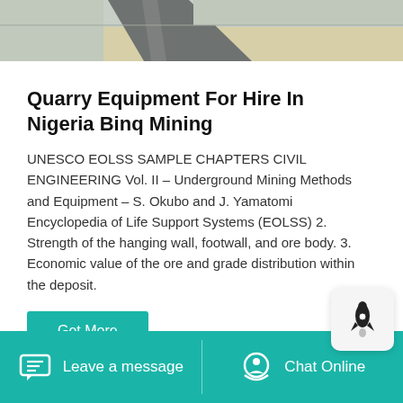[Figure (photo): Aerial view of a road and sandy terrain, top portion of a web card image]
Quarry Equipment For Hire In Nigeria Binq Mining
UNESCO EOLSS SAMPLE CHAPTERS CIVIL ENGINEERING Vol. II – Underground Mining Methods and Equipment – S. Okubo and J. Yamatomi Encyclopedia of Life Support Systems (EOLSS) 2. Strength of the hanging wall, footwall, and ore body. 3. Economic value of the ore and grade distribution within the deposit.
Get More
Leave a message   Chat Online